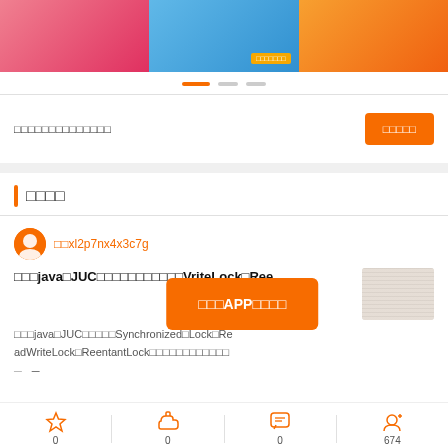[Figure (screenshot): Three banner images: pink/red, blue, and orange promotional banners]
[Figure (infographic): Carousel dots: one active orange dot and two inactive gray dots]
□□□□□□□□□□□□□□
□□□□□
□□□□
□□xl2p7nx4x3c7g
□□□java□JUC□□□□□□□□□□□VriteLock□Ree…
[Figure (screenshot): APP overlay button: 打开APP查看完整内容]
□□□java□JUC□□□□□Synchronized□Lock□ReadWriteLock□ReentantLock□□□□□□□□□□
[Figure (screenshot): Article thumbnail image]
0  0  0  674